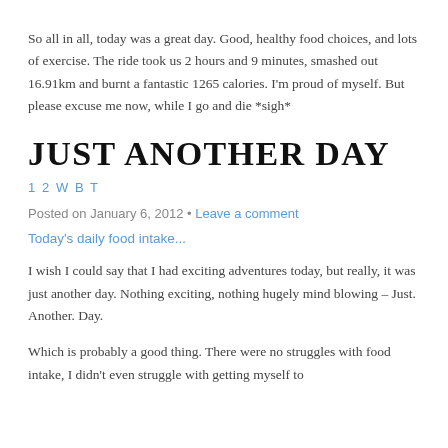So all in all, today was a great day. Good, healthy food choices, and lots of exercise. The ride took us 2 hours and 9 minutes, smashed out 16.91km and burnt a fantastic 1265 calories. I'm proud of myself. But please excuse me now, while I go and die *sigh*
JUST ANOTHER DAY
1 2 W B T
Posted on January 6, 2012 • Leave a comment
Today's daily food intake...
I wish I could say that I had exciting adventures today, but really, it was just another day. Nothing exciting, nothing hugely mind blowing – Just. Another. Day.
Which is probably a good thing. There were no struggles with food intake, I didn't even struggle with getting myself to